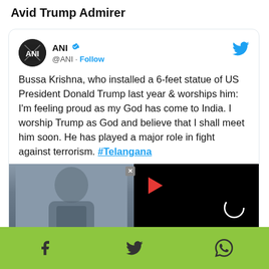Avid Trump Admirer
[Figure (screenshot): A tweet from ANI (@ANI) with verified badge and follow button. The tweet text reads: Bussa Krishna, who installed a 6-feet statue of US President Donald Trump last year & worships him: I'm feeling proud as my God has come to India. I worship Trump as God and believe that I shall meet him soon. He has played a major role in fight against terrorism. #Telangana. Below the text is a photo of a person and a black video player overlay with a red play button and loading spinner. A green social sharing bar is at the bottom with Facebook, Twitter, and WhatsApp icons.]